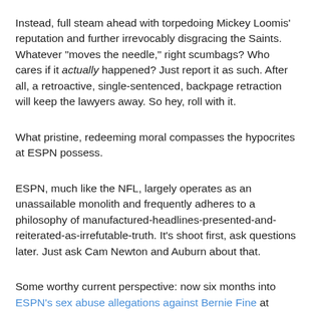Instead, full steam ahead with torpedoing Mickey Loomis' reputation and further irrevocably disgracing the Saints. Whatever "moves the needle," right scumbags? Who cares if it actually happened? Just report it as such. After all, a retroactive, single-sentenced, backpage retraction will keep the lawyers away. So hey, roll with it.
What pristine, redeeming moral compasses the hypocrites at ESPN possess.
ESPN, much like the NFL, largely operates as an unassailable monolith and frequently adheres to a philosophy of manufactured-headlines-presented-and-reiterated-as-irrefutable-truth. It's shoot first, ask questions later. Just ask Cam Newton and Auburn about that.
Some worthy current perspective: now six months into ESPN's sex abuse allegations against Bernie Fine at